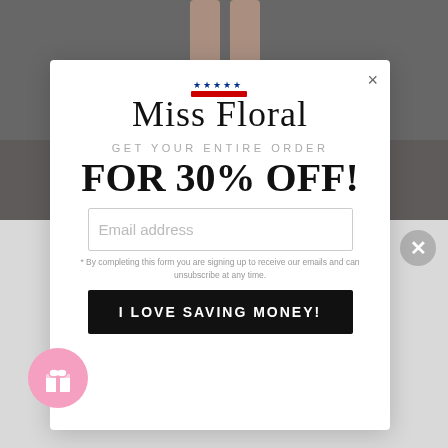[Figure (screenshot): Background photo showing legs with heeled sandals on wooden floor, partially obscured by modal overlay]
[Figure (logo): Miss Floral brand logo with script text and small US flag element above]
GET YOUR ENTIRE ORDER
FOR 30% OFF!
Email address (placeholder)
* By completing this form you are signing up to receive our emails and can unsubscribe at any time.
I LOVE SAVING MONEY!